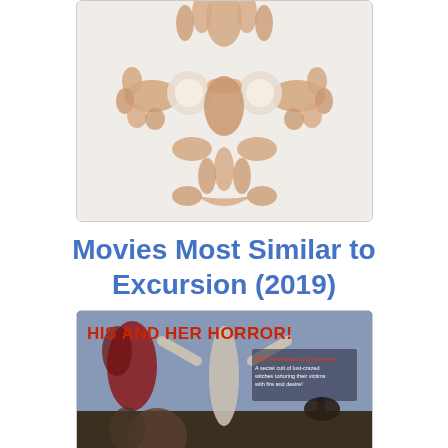[Figure (illustration): Movie poster or promotional image for Excursion (2019) showing hands arranged to form a face/skull shape against a light background]
Movies Most Similar to Excursion (2019)
[Figure (photo): Movie poster showing 'HIS AND HER HORROR!' text at top in red, with illustrated figures of women in dramatic poses. Text reads 'Now! Revealed on the screen! A secret cult of lust-crazed witches torturing their victims with fire and desire!' and 'DAUGHTERS' visible at bottom. Dark dramatic horror movie artwork.]